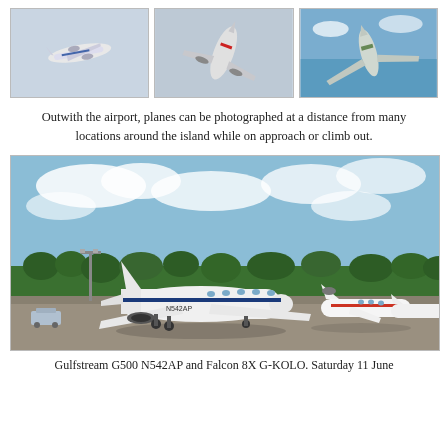[Figure (photo): Three photos of aircraft in flight arranged in a row: left – a turboprop aircraft (possibly ATR) in blue/white livery against grey sky; centre – a commercial jet climbing steeply against grey sky; right – a business/regional jet viewed from below against blue sky.]
Outwith the airport, planes can be photographed at a distance from many locations around the island while on approach or climb out.
[Figure (photo): Ground-level photograph of an airport apron showing a large white Gulfstream G500 business jet (registration N542AP) in the foreground, with a Falcon 8X (G-KOLO) and other aircraft visible further back. Blue sky with clouds and trees in background.]
Gulfstream G500 N542AP and Falcon 8X G-KOLO. Saturday 11 June